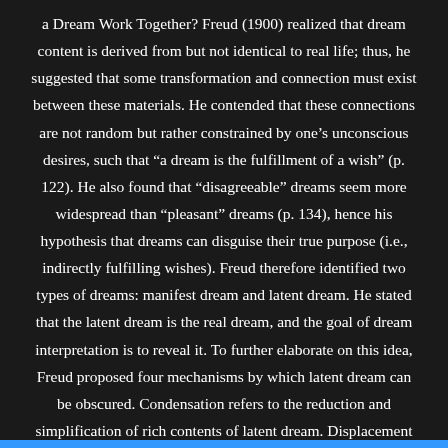a Dream Work Together? Freud (1900) realized that dream content is derived from but not identical to real life; thus, he suggested that some transformation and connection must exist between these materials. He contended that these connections are not random but rather constrained by one's unconscious desires, such that “a dream is the fulfillment of a wish” (p. 122). He also found that “disagreeable” dreams seem more widespread than “pleasant” dreams (p. 134), hence his hypothesis that dreams can disguise their true purpose (i.e., indirectly fulfilling wishes). Freud therefore identified two types of dreams: manifest dream and latent dream. He stated that the latent dream is the real dream, and the goal of dream interpretation is to reveal it. To further elaborate on this idea, Freud proposed four mechanisms by which latent dream can be obscured. Condensation refers to the reduction and simplification of rich contents of latent dream. Displacement refers to a process that